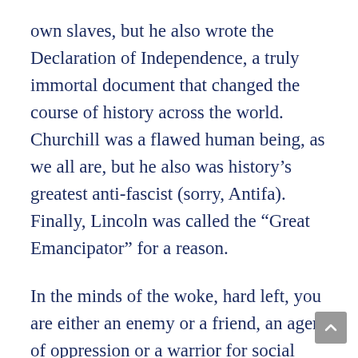own slaves, but he also wrote the Declaration of Independence, a truly immortal document that changed the course of history across the world. Churchill was a flawed human being, as we all are, but he also was history's greatest anti-fascist (sorry, Antifa). Finally, Lincoln was called the “Great Emancipator” for a reason.
In the minds of the woke, hard left, you are either an enemy or a friend, an agent of oppression or a warrior for social justice. There is no compromise or empathy, and certainly no room for subtlety. Such is the thinking of authoritarian rulers, who don’t tolerate dissent.